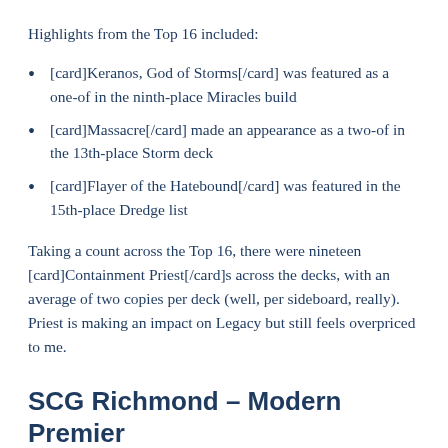Highlights from the Top 16 included:
[card]Keranos, God of Storms[/card] was featured as a one-of in the ninth-place Miracles build
[card]Massacre[/card] made an appearance as a two-of in the 13th-place Storm deck
[card]Flayer of the Hatebound[/card] was featured in the 15th-place Dredge list
Taking a count across the Top 16, there were nineteen [card]Containment Priest[/card]s across the decks, with an average of two copies per deck (well, per sideboard, really). Priest is making an impact on Legacy but still feels overpriced to me.
SCG Richmond – Modern Premier IQ (VA, USA)